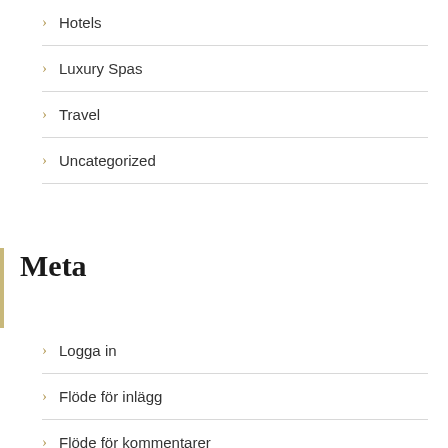Hotels
Luxury Spas
Travel
Uncategorized
Meta
Logga in
Flöde för inlägg
Flöde för kommentarer